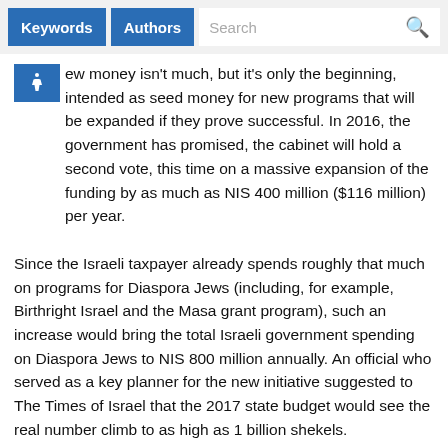Keywords  Authors  Search
ew money isn't much, but it's only the beginning, intended as seed money for new programs that will be expanded if they prove successful. In 2016, the government has promised, the cabinet will hold a second vote, this time on a massive expansion of the funding by as much as NIS 400 million ($116 million) per year.
Since the Israeli taxpayer already spends roughly that much on programs for Diaspora Jews (including, for example, Birthright Israel and the Masa grant program), such an increase would bring the total Israeli government spending on Diaspora Jews to NIS 800 million annually. An official who served as a key planner for the new initiative suggested to The Times of Israel that the 2017 state budget would see the real number climb to as high as 1 billion shekels.